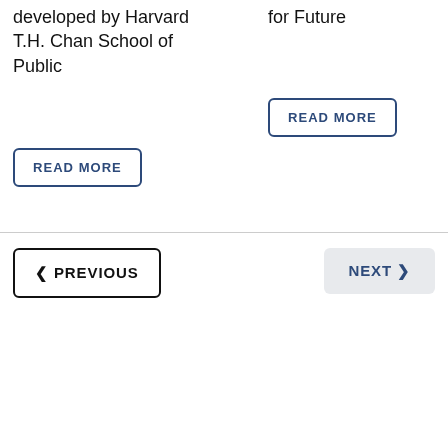developed by Harvard T.H. Chan School of Public
for Future
READ MORE
READ MORE
‹ PREVIOUS
NEXT ›